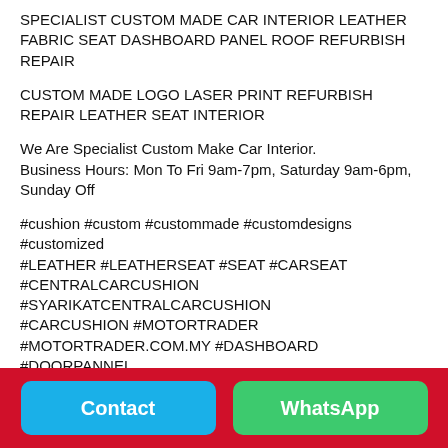SPECIALIST CUSTOM MADE CAR INTERIOR LEATHER FABRIC SEAT DASHBOARD PANEL ROOF REFURBISH REPAIR
CUSTOM MADE LOGO LASER PRINT REFURBISH REPAIR LEATHER SEAT INTERIOR
We Are Specialist Custom Make Car Interior.
Business Hours: Mon To Fri 9am-7pm, Saturday 9am-6pm,
Sunday Off
#cushion #custom #custommade #customdesigns #customized
#LEATHER #LEATHERSEAT #SEAT #CARSEAT
#CENTRALCARCUSHION #SYARIKATCENTRALCARCUSHION
#CARCUSHION #MOTORTRADER
#MOTORTRADER.COM.MY #DASHBOARD #DOORPANNEL
#CARROOF
Contact   WhatsApp